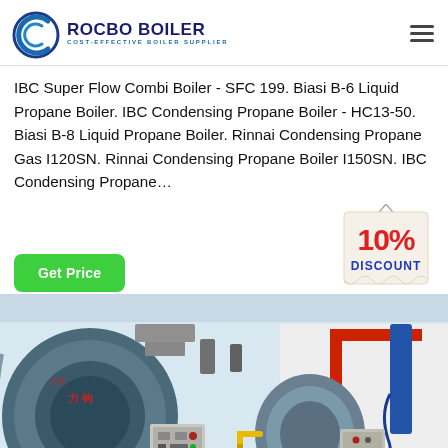[Figure (logo): Rocbo Boiler logo with blue circular icon and text 'ROCBO BOILER / COST-EFFECTIVE BOILER SUPPLIER']
IBC Super Flow Combi Boiler - SFC 199. Biasi B-6 Liquid Propane Boiler. IBC Condensing Propane Boiler - HC13-50. Biasi B-8 Liquid Propane Boiler. Rinnai Condensing Propane Gas I120SN. Rinnai Condensing Propane Boiler I150SN. IBC Condensing Propane…
[Figure (other): 10% DISCOUNT badge/tag in red and blue]
[Figure (photo): Industrial boiler room with large blue cylindrical boilers, yellow gas pipes, red door frame, and white walls]